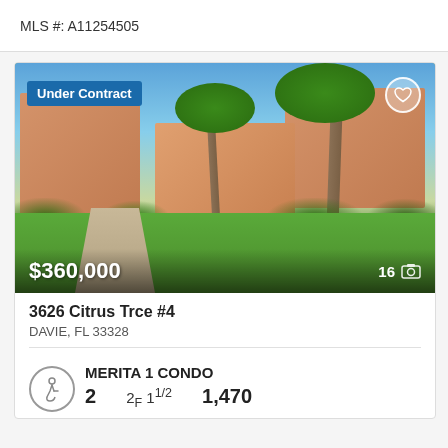MLS #: A11254505
[Figure (photo): Exterior photo of a condo community at 3626 Citrus Trce #4 in Davie, FL showing a tropical landscaped property with palm trees, lush green lawn, and Spanish-style buildings. Labeled 'Under Contract' with price $360,000 and 16 photos.]
3626 Citrus Trce #4
DAVIE, FL 33328
MERITA 1 CONDO
2  2F 1 1/2  1,470